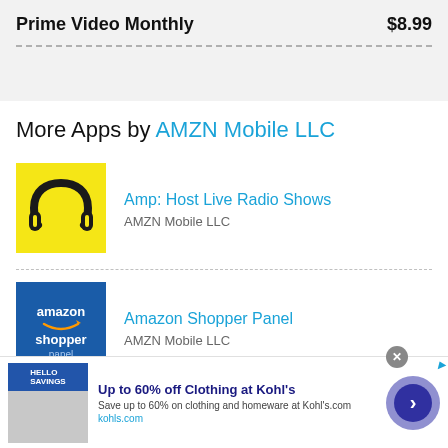Prime Video Monthly  $8.99
More Apps by AMZN Mobile LLC
[Figure (logo): Amp app icon: yellow background with black stylized headphones/letter A logo]
Amp: Host Live Radio Shows
AMZN Mobile LLC
[Figure (logo): Amazon Shopper Panel icon: blue background with amazon text, smile arrow, and shopper text in white]
Amazon Shopper Panel
AMZN Mobile LLC
[Figure (screenshot): Advertisement banner: Up to 60% off Clothing at Kohl's. Save up to 60% on clothing and homeware at Kohl's.com. kohls.com]
Up to 60% off Clothing at Kohl's
Save up to 60% on clothing and homeware at Kohl's.com
kohls.com